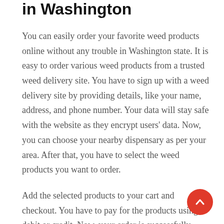in Washington
You can easily order your favorite weed products online without any trouble in Washington state. It is easy to order various weed products from a trusted weed delivery site. You have to sign up with a weed delivery site by providing details, like your name, address, and phone number. Your data will stay safe with the website as they encrypt users' data. Now, you can choose your nearby dispensary as per your area. After that, you have to select the weed products you want to order.
Add the selected products to your cart and checkout. You have to pay for the products using a debit or credit. Now, your order is successfully placed, and you will get all details on your phone number. A delivery agent will pick up your order from the dispensary and deliver it to your